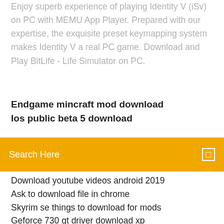Enjoy superb experience of playing Identity V (iSv) on PC with MEMU App Player. Prepared with our expertise, the exquisite preset keymapping system makes Identity V a real PC game. Download and Play BitLife - Life Simulator on PC.
Endgame mincraft mod download
Ios public beta 5 download
Search Here
Download youtube videos android 2019
Ask to download file in chrome
Skyrim se things to download for mods
Geforce 730 gt driver download xp
Calculus 10th edition pdf download ron larson
Wild swans three daughters of china pdf download
Download java magazine pdf
Share it free download pc
Pa pandi tamil movie hd download torrent
Rayman game download for free for pc